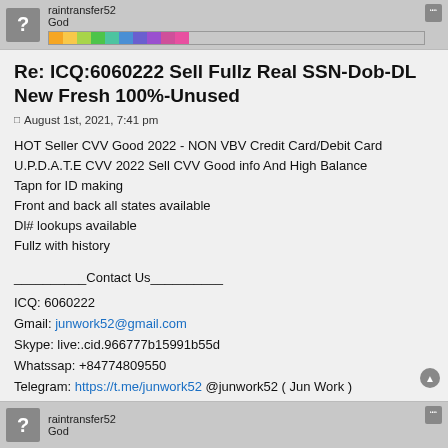raintransfer52 God
Re: ICQ:6060222 Sell Fullz Real SSN-Dob-DL New Fresh 100%-Unused
August 1st, 2021, 7:41 pm
HOT Seller CVV Good 2022 - NON VBV Credit Card/Debit Card
U.P.D.A.T.E CVV 2022 Sell CVV Good info And High Balance
Tapn for ID making
Front and back all states available
Dl# lookups available
Fullz with history
__________Contact Us__________
ICQ: 6060222
Gmail: junwork52@gmail.com
Skype: live:.cid.966777b15991b55d
Whatssap: +84774809550
Telegram: https://t.me/junwork52 @junwork52 ( Jun Work )
raintransfer52 God